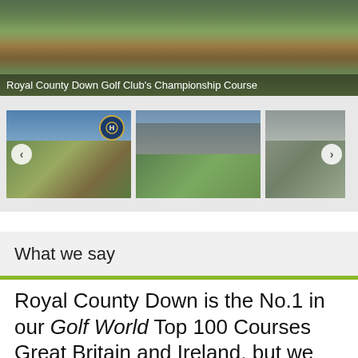[Figure (photo): Aerial/landscape view of Royal County Down Golf Club's Championship Course — rolling fairways, heathland, mountains in background]
Royal County Down Golf Club's Championship Course
[Figure (photo): Three thumbnail photos of Royal County Down Golf Club: (1) links course with coastal mountains view and club badge overlay, left navigation arrow; (2) fairway with mountain backdrop and estuary; (3) partial view of clubhouse building, right navigation arrow]
What we say
Royal County Down is the No.1 in our Golf World Top 100 Courses Great Britain and Ireland, but we were